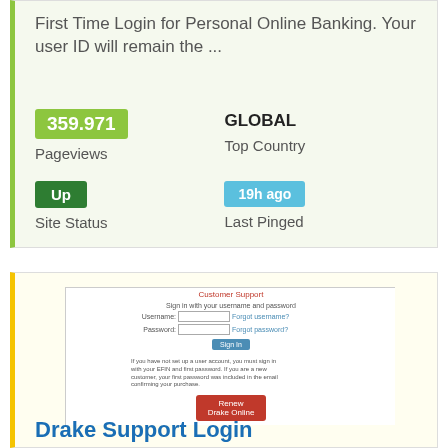First Time Login for Personal Online Banking. Your user ID will remain the ...
359.971 Pageviews
GLOBAL Top Country
Up Site Status
19h ago Last Pinged
[Figure (screenshot): Screenshot of Drake Software Customer Support login page with username/password fields, Forgot password links, a sign-in button, instructional text, and a red Renew Drake Online button. Privacy Policy and Cookie Settings links at the bottom.]
Drake Support Login